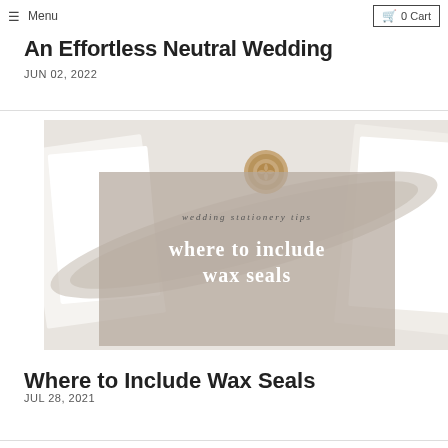Menu | 0 Cart
An Effortless Neutral Wedding
JUN 02, 2022
[Figure (photo): Blog post thumbnail image showing wax seal on wedding stationery with text overlay reading 'wedding stationery tips' and 'where to include wax seals']
Where to Include Wax Seals
JUL 28, 2021